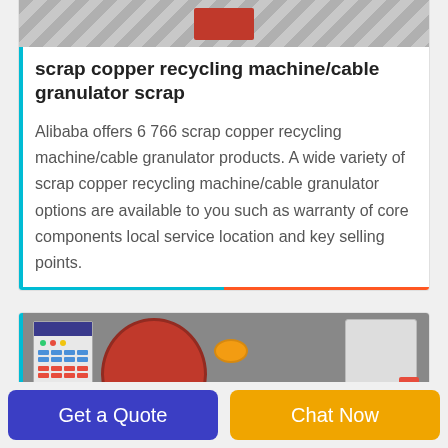[Figure (photo): Top portion of industrial machinery photo, showing a red bar element against a grey background]
scrap copper recycling machine/cable granulator scrap
Alibaba offers 6 766 scrap copper recycling machine/cable granulator products. A wide variety of scrap copper recycling machine/cable granulator options are available to you such as warranty of core components local service location and key selling points.
[Figure (photo): Industrial machinery photo showing a control panel on the left, large red machine component in the center, and white/grey machinery on the right]
Get a Quote
Chat Now